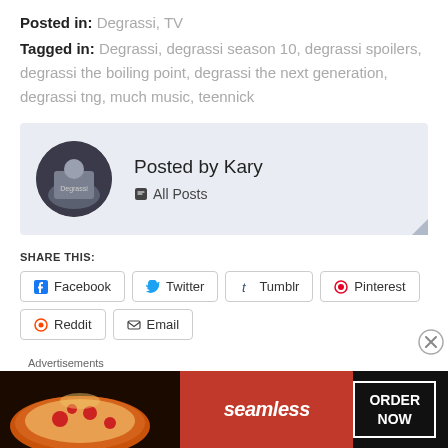Posted in: Degrassi, TV
Tagged in: Degrassi, degrassi season 10, degrassi spoilers, degrassi the boiling point, degrassi the next generation, degrassi tng, much music, teennick
Posted by Kary
All Posts
SHARE THIS:
Facebook  Twitter  Tumblr  Pinterest  Reddit  Email
[Figure (other): Seamless food delivery advertisement banner with pizza image, Seamless logo, and ORDER NOW button]